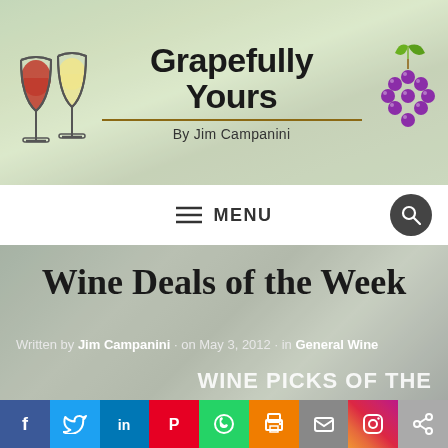[Figure (logo): Grapefully Yours blog header with wine glasses logo, title text, byline 'By Jim Campanini', and grape cluster illustration on a vineyard background]
MENU
Wine Deals of the Week
Written by Jim Campanini · on May 3, 2012 · in General Wine
WINE PICKS OF THE
[Figure (infographic): Social media sharing bar with Facebook, Twitter, LinkedIn, Pinterest, WhatsApp, Print, Email, Instagram, and Share buttons]